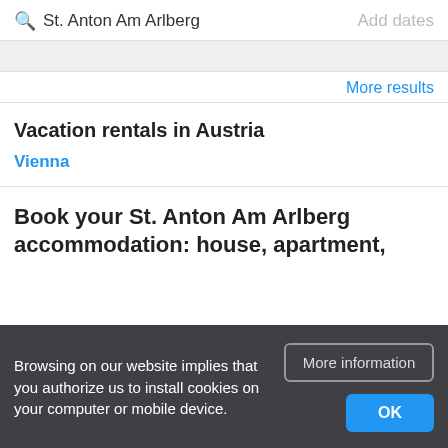St. Anton Am Arlberg | Add dates
More results
Vacation rentals in Austria
Vienna
Book your St. Anton Am Arlberg accommodation: house, apartment,
Browsing on our website implies that you authorize us to install cookies on your computer or mobile device.
More information
OK